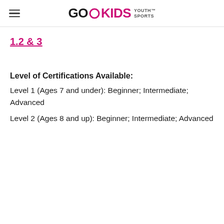GO KIDS YOUTH SPORTS
1.2 & 3
Level of Certifications Available:
Level 1 (Ages 7 and under): Beginner; Intermediate; Advanced
Level 2 (Ages 8 and up): Beginner; Intermediate; Advanced